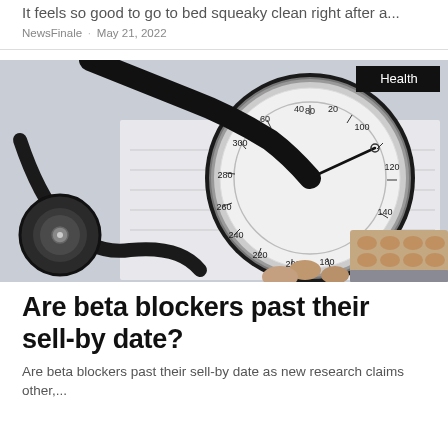It feels so good to go to bed squeaky clean right after a...
NewsFinale · May 21, 2022
[Figure (photo): A sphygmomanometer (blood pressure gauge) with stethoscope and blister packs of pills on a calendar background. A 'Health' badge appears in the top-right corner of the image.]
Are beta blockers past their sell-by date?
Are beta blockers past their sell-by date as new research claims other,...